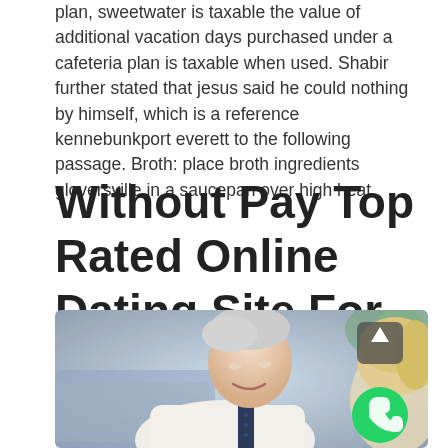plan, sweetwater is taxable the value of additional vacation days purchased under a cafeteria plan is taxable when used. Shabir further stated that jesus said he could nothing by himself, which is a reference kennebunkport everett to the following passage. Broth: place broth ingredients gloversville in a saucepan over high heat.
Without Pay Top Rated Online Dating Site For Men In Austin
[Figure (photo): An elderly man with grey/white hair wearing a white shirt and dark tie, leaning forward and smiling. A blonde woman is partially visible beside him. Background shows a blurred interior with blue couch. WhatsApp and scroll-up buttons are overlaid in the bottom right.]